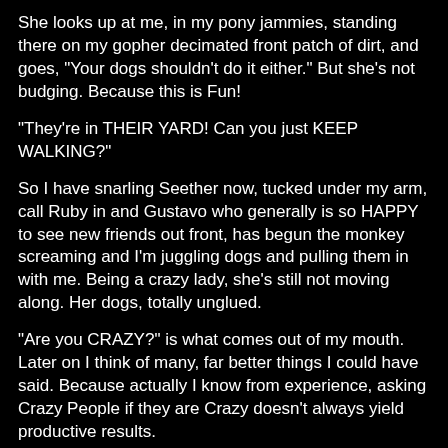She looks up at me, in my pony jammies, standing there on my gopher decimated front patch of dirt, and goes, "Your dogs shouldn't do it either." But she's not budging. Because this is Fun!
"They're in THEIR YARD! Can you just KEEP WALKING?"
So I have snarling Seether now, tucked under my arm, call Ruby in and Gustavo who generally is so HAPPY to see new friends out front, has begun the monkey screaming and I'm juggling dogs and pulling them in with me. Being a crazy lady, she's still not moving along. Her dogs, totally unglued.
"Are you CRAZY?" is what comes out of my mouth. Later on I think of many, far better things I could have said. Because actually I know from experience, asking Crazy People if they are Crazy doesn't always yield productive results.
She doesn't answer, and not until all my dogs get herded back into the house, does she pull her dogs back on their flexi leash and continue her stroll down the block, grinning.